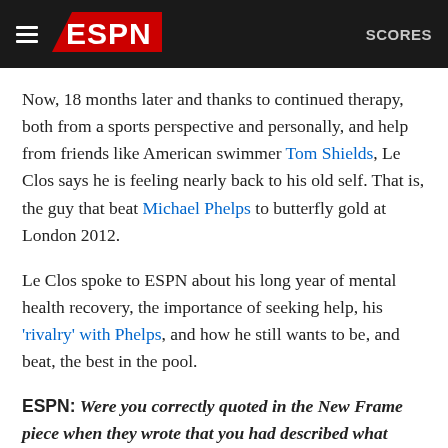ESPN   SCORES
Now, 18 months later and thanks to continued therapy, both from a sports perspective and personally, and help from friends like American swimmer Tom Shields, Le Clos says he is feeling nearly back to his old self. That is, the guy that beat Michael Phelps to butterfly gold at London 2012.
Le Clos spoke to ESPN about his long year of mental health recovery, the importance of seeking help, his 'rivalry' with Phelps, and how he still wants to be, and beat, the best in the pool.
ESPN: Were you correctly quoted in the New Frame piece when they wrote that you had described what happened to you as worse than your parents having cancer? [Both Chad's parents had cancer during the buildup to the 2016 Olympics]